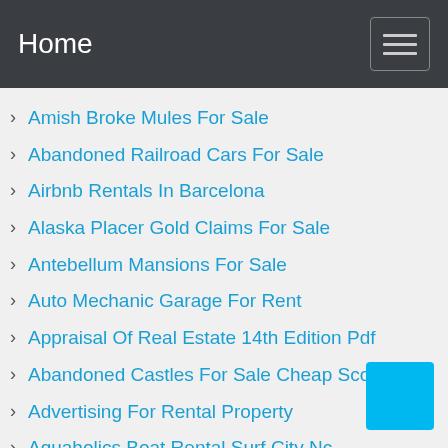Home
Amish Broke Mules For Sale
Abandoned Railroad Cars For Sale
Airbnb Rentals In Barcelona
Alaska Placer Gold Claims For Sale
Antebellum Mansions For Sale
Auto Mechanic Garage For Rent
Appraisal Of Real Estate 14th Edition Pdf
Abandoned Castles For Sale Cheap Scotland
Advertising For Rental Property
Aquaholics Boat Rental Surf City Nc